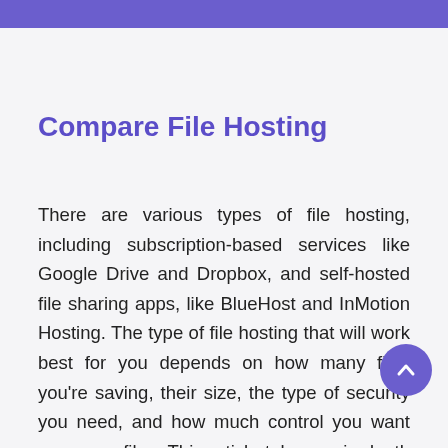Compare File Hosting
There are various types of file hosting, including subscription-based services like Google Drive and Dropbox, and self-hosted file sharing apps, like BlueHost and InMotion Hosting. The type of file hosting that will work best for you depends on how many files you're saving, their size, the type of security you need, and how much control you want over your files. This article takes an in-depth look at the different types of file hosting, what you should consider when choosing a file hosting service, and our